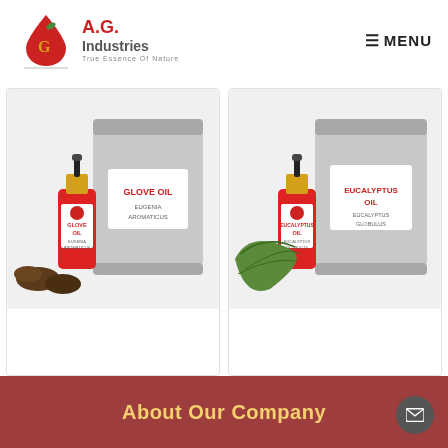[Figure (logo): A.G. Industries logo - red droplet with leaf, company name and tagline 'True Essence Of Nature']
☰ MENU
[Figure (photo): Glove Oil product photo showing small dropper bottle, large silver drum, and cloves]
[Figure (photo): Eucalyptus Oil product photo showing small dropper bottle, large silver drum, and eucalyptus leaves]
Load More
About Our Company